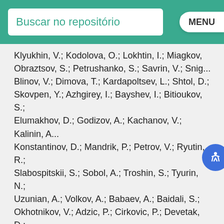Buscar no repositório
Klyukhin, V.; Kodolova, O.; Lokhtin, I.; Miagkov, ... Obraztsov, S.; Petrushanko, S.; Savrin, V.; Snig... Blinov, V.; Dimova, T.; Kardapoltsev, L.; Shtol, D.; Skovpen, Y.; Azhgirey, I.; Bayshev, I.; Bitioukov, S.; Elumakhov, D.; Godizov, A.; Kachanov, V.; Kalinin, A... Konstantinov, D.; Mandrik, P.; Petrov, V.; Ryutin, R.; Slabospitskii, S.; Sobol, A.; Troshin, S.; Tyurin, N.; Uzunian, A.; Volkov, A.; Babaev, A.; Baidali, S.; Okhotnikov, V.; Adzic, P.; Cirkovic, P.; Devetak, D.; Dordevic, M.; Milosevic, J.; Alcaraz Maestre, J.; Alvarez Fernandez, A.; Bachiller, I.; Barrio Luna, M.; Brochero Cifuentes, J. A.; Cerrada, M.; Colino, N.; De La Cruz, B.; Delgado Peris, A.; Fernandez Bedoya, C.; Fernandez Ramos, J. P.; Flix, J.; Fouz, M. C.; Gonzalez Lopez, O.; Goy Lopez, S.; Hernandez, J. M.; Josa, M. I.; Moran, D.; Perez-Calero Yzquierdo, A.; Puerta Pelayo, J.; Redondo, I.; Romero, L.; Soares, M. S.; Triossi, A.; Albajar, C.; Troconiz, J. F. de; Cuevas, J.; Erice, C.; Fernandez Menendez, J.; Folgueras, S.; Gonzalez Caballero, I.;